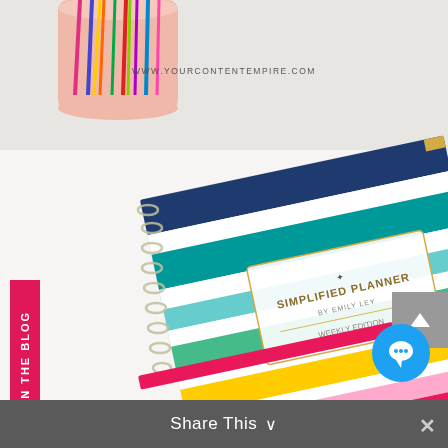[Figure (photo): A colorful striped spiral-bound Simplified Planner notebook lying on a white desk surface, flanked by a pink cup holding colorful pens and pencils on the left, and a green plate partially visible on the right. A light blue object (possibly a phone case or wallet) is in the upper right. The planner has horizontal stripes in navy, teal, light blue, mint green, yellow, light pink, and hot pink colors.]
WWW.YOURCONTENTEMPIRE.COM
ON THE BLOG
Share This